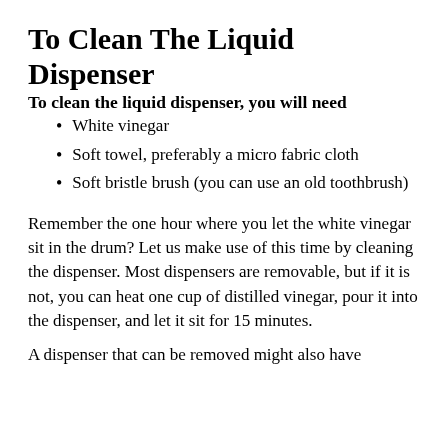To Clean The Liquid Dispenser
To clean the liquid dispenser, you will need
White vinegar
Soft towel, preferably a micro fabric cloth
Soft bristle brush (you can use an old toothbrush)
Remember the one hour where you let the white vinegar sit in the drum? Let us make use of this time by cleaning the dispenser. Most dispensers are removable, but if it is not, you can heat one cup of distilled vinegar, pour it into the dispenser, and let it sit for 15 minutes.
A dispenser that can be removed might also have